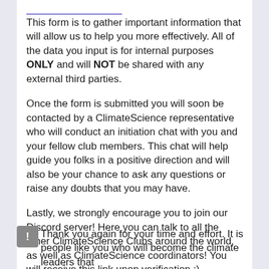[link]
This form is to gather important information that will allow us to help you more effectively. All of the data you input is for internal purposes ONLY and will NOT be shared with any external third parties.
Once the form is submitted you will soon be contacted by a ClimateScience representative who will conduct an initiation chat with you and your fellow club members. This chat will help guide you folks in a positive direction and will also be your chance to ask any questions or raise any doubts that you may have.
Lastly, we strongly encourage you to join our Discord server! Here you can talk to all the other ClimateScience Clubs around the world, as well as ClimateScience coordinators! You will receive this link upon verification :)
Thank you again for your time and effort. It is people like you who will become the climate leaders that